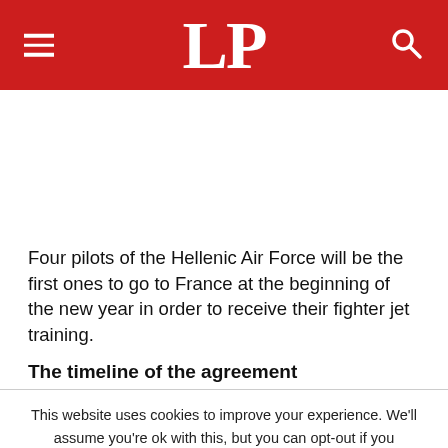LP
Four pilots of the Hellenic Air Force will be the first ones to go to France at the beginning of the new year in order to receive their fighter jet training.
The timeline of the agreement
This website uses cookies to improve your experience. We'll assume you're ok with this, but you can opt-out if you wish. Cookie settings ACCEPT